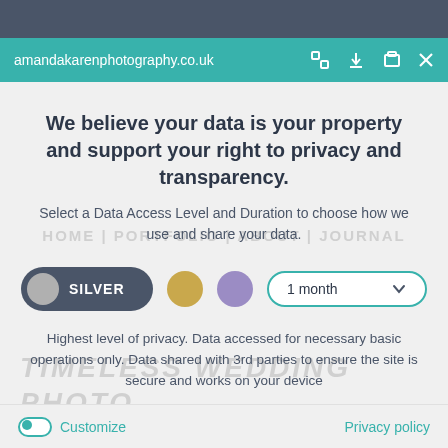amandakarenphotography.co.uk
We believe your data is your property and support your right to privacy and transparency.
Select a Data Access Level and Duration to choose how we use and share your data.
[Figure (screenshot): Data access level selector with Silver toggle button selected, gold circle, purple circle, and 1 month dropdown]
Highest level of privacy. Data accessed for necessary basic operations only. Data shared with 3rd parties to ensure the site is secure and works on your device
Save my preferences
Customize
Privacy policy